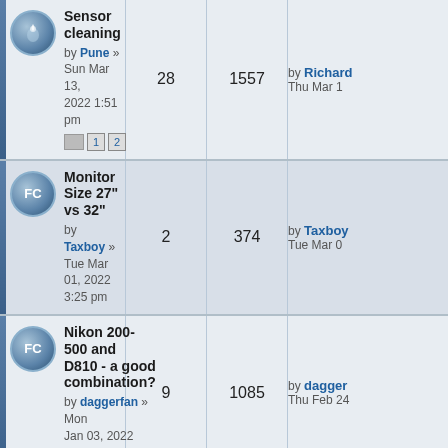| Topic | Replies | Views | Last post |
| --- | --- | --- | --- |
| Sensor cleaning
by Pune » Sun Mar 13, 2022 1:51 pm | 28 | 1557 | by Richard
Thu Mar 1 |
| Monitor Size 27" vs 32"
by Taxboy » Tue Mar 01, 2022 3:25 pm | 2 | 374 | by Taxboy
Tue Mar 0 |
| Nikon 200-500 and D810 - a good combination?
by daggerfan » Mon Jan 03, 2022 5:25 pm | 9 | 1085 | by dagger
Thu Feb 24 |
| Nikon 200-500mm
by macbear26 » Sun Feb 20, 2022 11:53 am | 4 | 490 | by macbear26
Mon Feb 2 |
| Camera and optics insurance
by robw210 » Wed Feb 09, 2022 8:19 am | 4 | 494 | by Supra f
Tue Feb 15 |
| Posting from google photos .
by 1marshn30 » Wed Feb 09, 2022 4:29 pm | 0 | 265 | by 1marsh
Wed Feb 0 |
| Anyone bought from Camera Jungle?
by daggerfan » Sun Feb 06, 2022 3:57 pm | 5 | 750 | by chrisma
Tue Feb 08 |